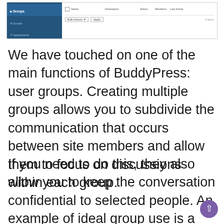[Figure (screenshot): WordPress admin panel screenshot showing BuddyPress Groups management interface with sidebar menu items (Groups, Emails, Appearance) and a table with columns (Name, Description, Status, Members, Last Active) and Bulk Actions toolbar showing 0 items]
We have touched on one of the main functions of BuddyPress: user groups. Creating multiple groups allows you to subdivide the communication that occurs between site members and allow them to focus on discussions within each group.
If you need to do this, they also allow you to keep the conversation confidential to selected people. An example of ideal group use is a company